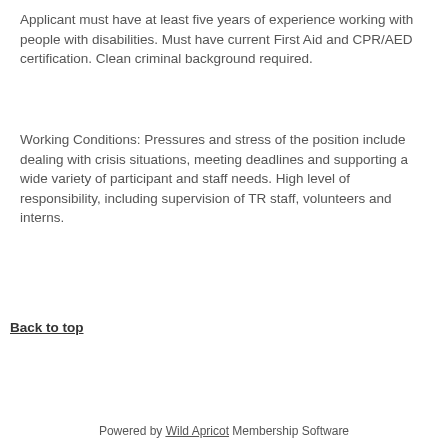Applicant must have at least five years of experience working with people with disabilities. Must have current First Aid and CPR/AED certification. Clean criminal background required.
Working Conditions: Pressures and stress of the position include dealing with crisis situations, meeting deadlines and supporting a wide variety of participant and staff needs. High level of responsibility, including supervision of TR staff, volunteers and interns.
Back to top
Powered by Wild Apricot Membership Software